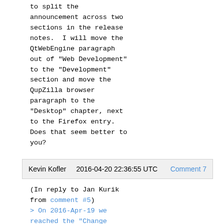to split the announcement across two sections in the release notes.  I will move the QtWebEngine paragraph out of "Web Development" to the "Development" section and move the QupZilla browser paragraph to the "Desktop" chapter, next to the Firefox entry. Does that seem better to you?
Kevin Kofler    2016-04-20 22:36:55 UTC    Comment 7
(In reply to Jan Kurik from comment #5)
> On 2016-Apr-19 we reached the "Change Checkpoint: 100% Code Complete
> Deadline" milestone for Fedora 24 release. At this point all the Changes not